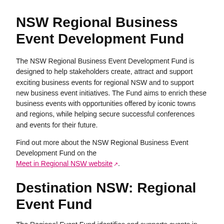NSW Regional Business Event Development Fund
The NSW Regional Business Event Development Fund is designed to help stakeholders create, attract and support exciting business events for regional NSW and to support new business event initiatives. The Fund aims to enrich these business events with opportunities offered by iconic towns and regions, while helping secure successful conferences and events for their future.
Find out more about the NSW Regional Business Event Development Fund on the Meet in Regional NSW website.
Destination NSW: Regional Event Fund
The Regional Event Fund identifies and supports events in regional NSW that have the potential to act as 'cornerstone' or flagship tourism events for their area by attracting overnight visitation and delivering long-term benefits to the region.